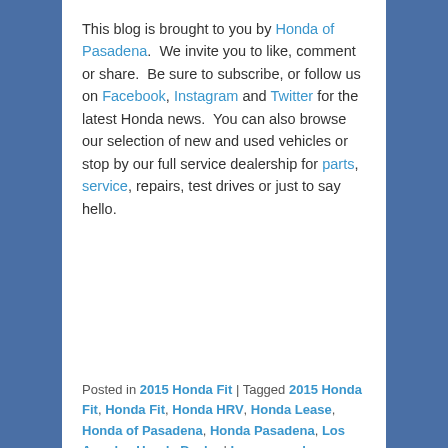This blog is brought to you by Honda of Pasadena.  We invite you to like, comment or share.  Be sure to subscribe, or follow us on Facebook, Instagram and Twitter for the latest Honda news.  You can also browse our selection of new and used vehicles or stop by our full service dealership for parts, service, repairs, test drives or just to say hello.
Posted in 2015 Honda Fit | Tagged 2015 Honda Fit, Honda Fit, Honda HRV, Honda Lease, Honda of Pasadena, Honda Pasadena, Los Angeles Honda Dealer | Leave a reply
Honda of Pasadena 2016 Honda HR-V